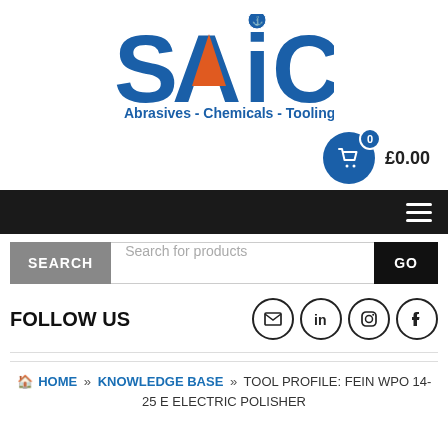[Figure (logo): SAIC logo with blue letters S, A, I, C with orange mountain/triangle motif inside the A, and a small circular emblem above the I. Tagline: Abrasives - Chemicals - Tooling]
0  £0.00
[Figure (screenshot): Dark navigation bar with hamburger menu icon (three horizontal lines) on the right]
[Figure (screenshot): Search bar with SEARCH label, placeholder 'Search for products', and GO button]
FOLLOW US
HOME » KNOWLEDGE BASE » TOOL PROFILE: FEIN WPO 14-25 E ELECTRIC POLISHER